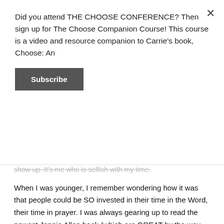Did you attend THE CHOOSE CONFERENCE? Then sign up for The Choose Companion Course! This course is a video and resource companion to Carrie's book, Choose: An
Subscribe
show up. It's me who is selfish with my time.
When I was younger, I remember wondering how it was that people could be SO invested in their time in the Word, their time in prayer. I was always gearing up to read the newest Jennie Allen book (which are GREAT by the way, make sure you read ALL of her stuff).
Guys, it's AWESOME to read Jennie. But I NEVER want to make Jennie more important than Jesus. I never want to make Christine Caine a Jesus replacement. Or Joyce Meyer. Or Beth Moore. Those girls are pointing me TO